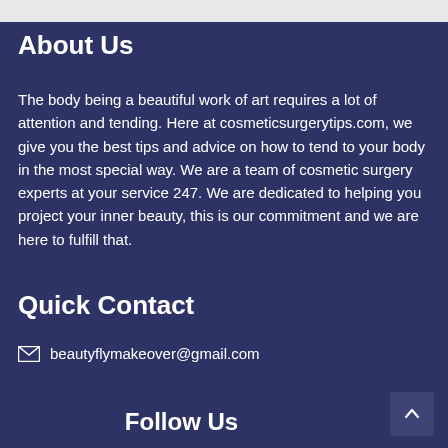About Us
The body being a beautiful work of art requires a lot of attention and tending. Here at cosmeticsurgerytips.com, we give you the best tips and advice on how to tend to your body in the most special way. We are a team of cosmetic surgery experts at your service 247. We are dedicated to helping you project your inner beauty, this is our commitment and we are here to fulfill that.
Quick Contact
beautyflymakeover@gmail.com
Follow Us